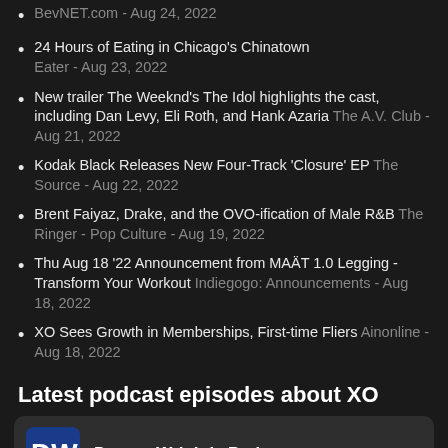BevNET.com - Aug 24, 2022
24 Hours of Eating in Chicago's Chinatown Eater - Aug 23, 2022
New trailer The Weeknd's The Idol highlights the cast, including Dan Levy, Eli Roth, and Hank Azaria The A.V. Club - Aug 21, 2022
Kodak Black Releases New Four-Track 'Closure' EP The Source - Aug 22, 2022
Brent Faiyaz, Drake, and the OVO-ification of Male R&B The Ringer - Pop Culture - Aug 19, 2022
Thu Aug 18 '22 Announcement from MAÄT 1.0 Legging - Transform Your Workout Indiegogo: Announcements - Aug 18, 2022
XO Sees Growth in Memberships, First-time Fliers Ainonline - Aug 18, 2022
Latest podcast episodes about XO
Dorsey Wright's Podcast